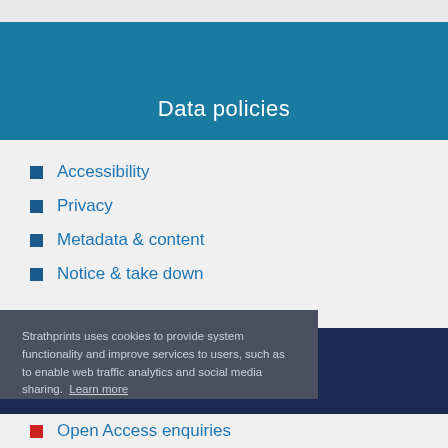Data policies
Accessibility
Privacy
Metadata & content
Notice & take down
Strathprints uses cookies to provide system functionality and improve services to users, such as to enable web traffic analytics and social media sharing. Learn more
Contact us & more
Open Access enquiries